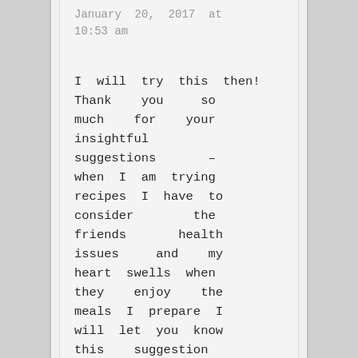January 20, 2017 at 10:53 am
I will try this then! Thank you so much for your insightful suggestions – when I am trying recipes I have to consider the friends health issues and my heart swells when they enjoy the meals I prepare I will let you know this suggestion